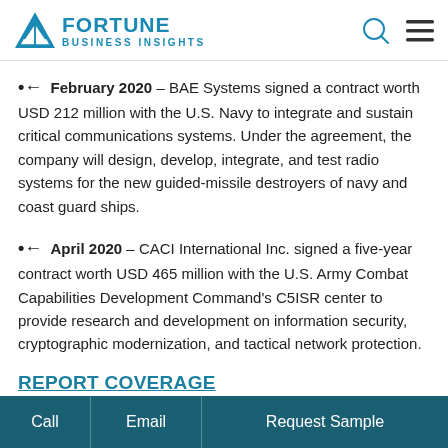Fortune Business Insights
February 2020 – BAE Systems signed a contract worth USD 212 million with the U.S. Navy to integrate and sustain critical communications systems. Under the agreement, the company will design, develop, integrate, and test radio systems for the new guided-missile destroyers of navy and coast guard ships.
April 2020 – CACI International Inc. signed a five-year contract worth USD 465 million with the U.S. Army Combat Capabilities Development Command's C5ISR center to provide research and development on information security, cryptographic modernization, and tactical network protection.
REPORT COVERAGE
Call   Email   Request Sample